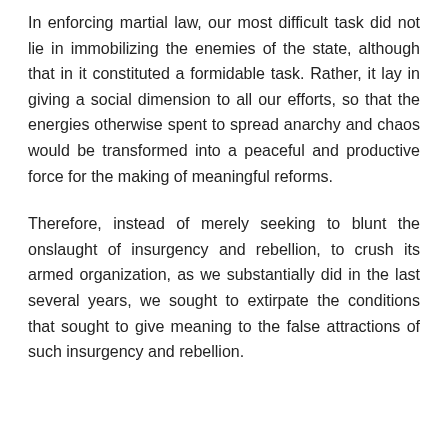In enforcing martial law, our most difficult task did not lie in immobilizing the enemies of the state, although that in it constituted a formidable task. Rather, it lay in giving a social dimension to all our efforts, so that the energies otherwise spent to spread anarchy and chaos would be transformed into a peaceful and productive force for the making of meaningful reforms.
Therefore, instead of merely seeking to blunt the onslaught of insurgency and rebellion, to crush its armed organization, as we substantially did in the last several years, we sought to extirpate the conditions that sought to give meaning to the false attractions of such insurgency and rebellion.